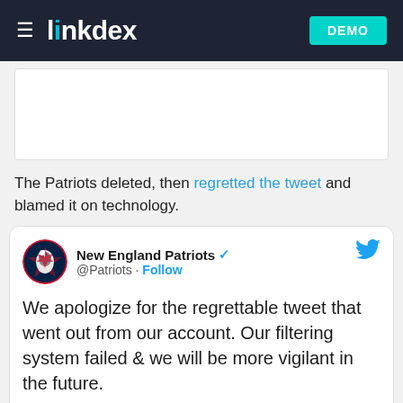linkdex DEMO
[Figure (screenshot): White image placeholder box]
The Patriots deleted, then regretted the tweet and blamed it on technology.
[Figure (screenshot): Tweet from New England Patriots (@Patriots): We apologize for the regrettable tweet that went out from our account. Our filtering system failed & we will be more vigilant in the future. 3:29 AM · Nov 14, 2014]